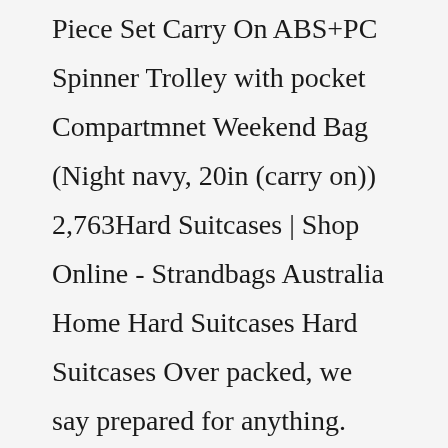Piece Set Carry On ABS+PC Spinner Trolley with pocket Compartmnet Weekend Bag (Night navy, 20in (carry on)) 2,763Hard Suitcases | Shop Online - Strandbags Australia Home Hard Suitcases Hard Suitcases Over packed, we say prepared for anything. Our ultralight hard suitcase with dual-spinner wheels lets you take half your wardrobe with you - and then some. Whe... Read More Filter Image View Sorry, there are no products in this